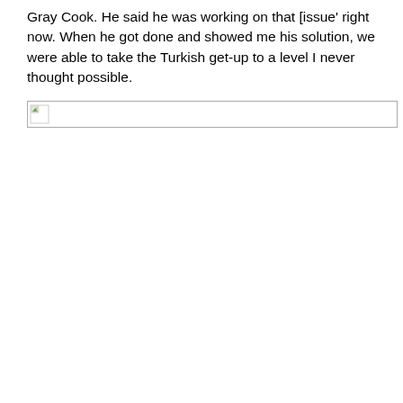Gray Cook. He said he was working on that [issue' right now. When he got done and showed me his solution, we were able to take the Turkish get-up to a level I never thought possible.
[Figure (photo): Broken image placeholder showing a small broken image icon in the top-left corner with a rectangular border outline]